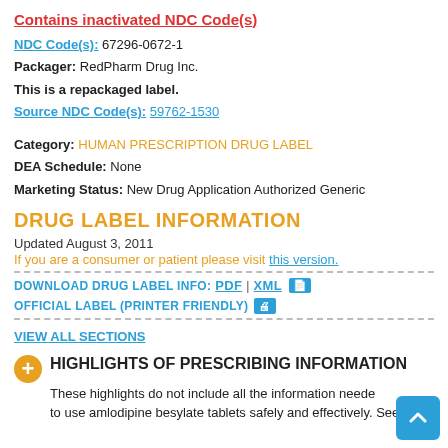Contains inactivated NDC Code(s)
NDC Code(s): 67296-0672-1
Packager: RedPharm Drug Inc.
This is a repackaged label.
Source NDC Code(s): 59762-1530
Category: HUMAN PRESCRIPTION DRUG LABEL
DEA Schedule: None
Marketing Status: New Drug Application Authorized Generic
DRUG LABEL INFORMATION
Updated August 3, 2011
If you are a consumer or patient please visit this version.
DOWNLOAD DRUG LABEL INFO: PDF | XML
OFFICIAL LABEL (PRINTER FRIENDLY)
VIEW ALL SECTIONS
HIGHLIGHTS OF PRESCRIBING INFORMATION
These highlights do not include all the information needed to use amlodipine besylate tablets safely and effectively. See